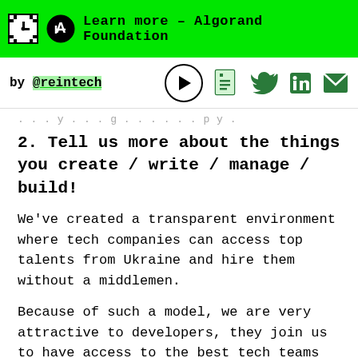Learn more – Algorand Foundation
by @reintech
2. Tell us more about the things you create / write / manage / build!
We've created a transparent environment where tech companies can access top talents from Ukraine and hire them without a middlemen.
Because of such a model, we are very attractive to developers, they join us to have access to the best tech teams worldwide.